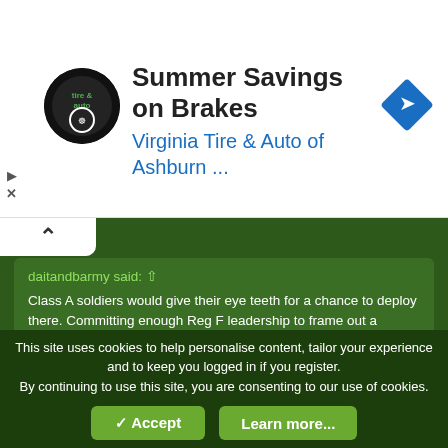[Figure (other): Advertisement banner for Virginia Tire & Auto of Ashburn with logo, headline 'Summer Savings on Brakes', subtitle 'Virginia Tire & Auto of Ashburn ...', and a blue navigation diamond icon]
daitandbarmy said: ⊕
Class A soldiers would give their eye teeth for a chance to deploy there. Committing enough Reg F leadership to frame out a couple of rifle companies/batteries/squadrons might pay dividends for both our international commitments and increasing reserve capabilities and retention.
Just out of curiosity, why would we need to have Reg Force leaderships for these Res Force troops? Why not allow the Res Force leadership to deploy with their own soldiers? I realize a single Unit providing a sub-unit is likely not feasible, but we do/have created Companies complete for DOMOPS from units.
This site uses cookies to help personalise content, tailor your experience and to keep you logged in if you register.
By continuing to use this site, you are consenting to our use of cookies.